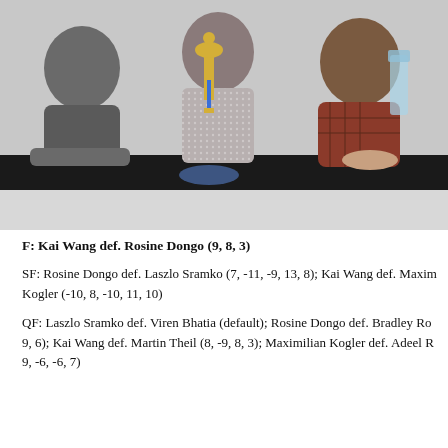[Figure (photo): Group photo of three people behind a dark counter/table. The person in the center is holding a gold trophy with a blue ribbon, and the person on the right is holding a clear/glass award. The person on the left is wearing a gray hoodie, center person wears a dotted shirt, and the right person wears a dark plaid shirt with a brownish-red sweater.]
F: Kai Wang def. Rosine Dongo (9, 8, 3)
SF: Rosine Dongo def. Laszlo Sramko (7, -11, -9, 13, 8); Kai Wang def. Maximilian Kogler (-10, 8, -10, 11, 10)
QF: Laszlo Sramko def. Viren Bhatia (default); Rosine Dongo def. Bradley Ro 9, 6); Kai Wang def. Martin Theil (8, -9, 8, 3); Maximilian Kogler def. Adeel R 9, -6, -6, 7)